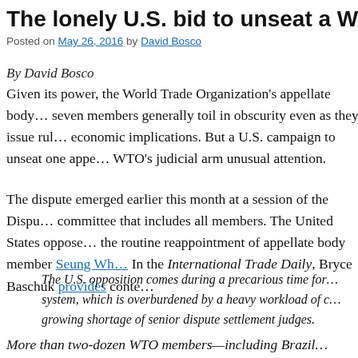The lonely U.S. bid to unseat a WTO jud…
Posted on May 26, 2016 by David Bosco
By David Bosco
Given its power, the World Trade Organization's appellate body… seven members generally toil in obscurity even as they issue rul… economic implications. But a U.S. campaign to unseat one appe… WTO's judicial arm unusual attention.
The dispute emerged earlier this month at a session of the Dispu… committee that includes all members. The United States oppose… the routine reappointment of appellate body member Seung Wh… In the International Trade Daily, Bryce Baschuk provides conte…
The U.S. opposition comes during a precarious time for… system, which is overburdened by a heavy workload of c… growing shortage of senior dispute settlement judges.
More than two-dozen WTO members—including Brazil…